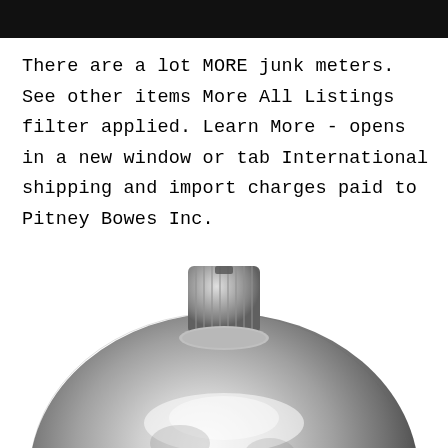[Figure (other): Black header bar at the top of the page]
There are a lot MORE junk meters. See other items More All Listings filter applied. Learn More - opens in a new window or tab International shipping and import charges paid to Pitney Bowes Inc.
[Figure (photo): Close-up photo of a shiny silver/chrome metallic component — appears to be the top of a vacuum tube or similar electronic component, showing a ribbed cylindrical knob on top of a rounded dome-shaped metallic body.]